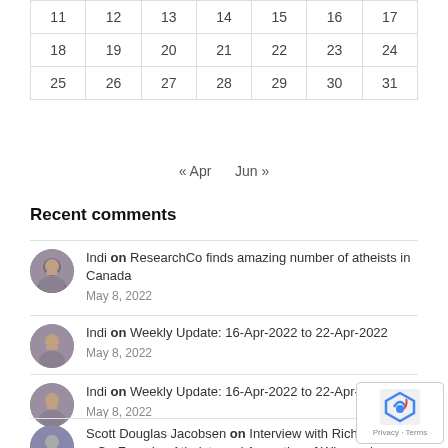| 11 | 12 | 13 | 14 | 15 | 16 | 17 |
| 18 | 19 | 20 | 21 | 22 | 23 | 24 |
| 25 | 26 | 27 | 28 | 29 | 30 | 31 |
« Apr    Jun »
Recent comments
Indi on ResearchCo finds amazing number of atheists in Canada — May 8, 2022
Indi on Weekly Update: 16-Apr-2022 to 22-Apr-2022 — May 8, 2022
Indi on Weekly Update: 16-Apr-2022 to 22-Apr-2022 — May 8, 2022
Scott Douglas Jacobsen on Interview with Richard S. [...] – Co-Founder, Atheists and Agnostics of Wisconsin